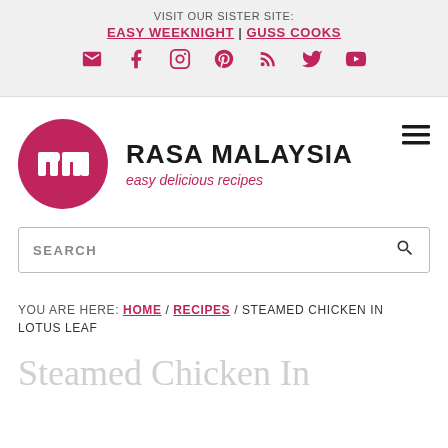VISIT OUR SISTER SITE: EASY WEEKNIGHT | GUSS COOKS
[Figure (infographic): Social media icons row: email, Facebook, Instagram, Pinterest, RSS, Twitter, YouTube]
[Figure (logo): Rasa Malaysia logo: pink circle with 'rm' letters, text RASA MALAYSIA, tagline easy delicious recipes]
SEARCH
YOU ARE HERE: HOME / RECIPES / STEAMED CHICKEN IN LOTUS LEAF
Steamed Chicken In